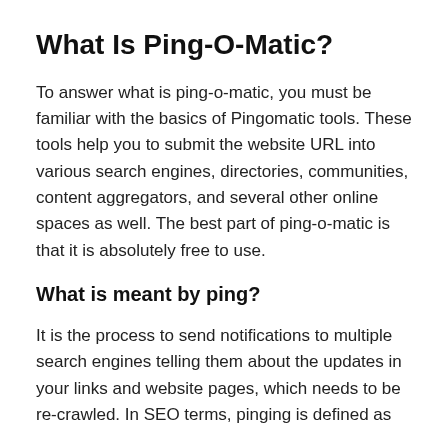What Is Ping-O-Matic?
To answer what is ping-o-matic, you must be familiar with the basics of Pingomatic tools. These tools help you to submit the website URL into various search engines, directories, communities, content aggregators, and several other online spaces as well. The best part of ping-o-matic is that it is absolutely free to use.
What is meant by ping?
It is the process to send notifications to multiple search engines telling them about the updates in your links and website pages, which needs to be re-crawled. In SEO terms, pinging is defined as